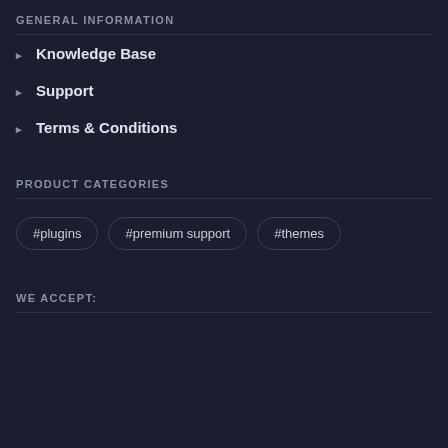GENERAL INFORMATION
Knowledge Base
Support
Terms & Conditions
PRODUCT CATEGORIES
#plugins
#premium support
#themes
WE ACCEPT: